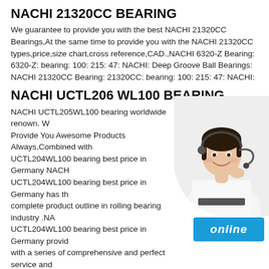NACHI 21320CC BEARING
We guarantee to provide you with the best NACHI 21320CC Bearings,At the same time to provide you with the NACHI 21320CC types,price,size chart,cross reference,CAD.,NACHI 6320-Z Bearing: 6320-Z: bearing: 100: 215: 47: NACHI: Deep Groove Ball Bearings: NACHI 21320CC Bearing: 21320CC: bearing: 100: 215: 47: NACHI:
NACHI UCTL206 WL100 BEARING
NACHI UCTL205WL100 bearing worldwide renown. W Provide You Awesome Products Always,Combined with UCTL204WL100 bearing best price in Germany NACH UCTL204WL100 bearing best price in Germany has the complete product outline in rolling bearing industry .NA UCTL204WL100 bearing best price in Germany provid with a series of comprehensive and perfect service and support.
[Figure (photo): Customer service representative woman with headset smiling]
[Figure (other): Online button in blue with italic white text]
NACHI UCT317 BEARING
NACHI UCT317 UCT317 You may also find other latest UCT214 Insert bearing selling and UC207 22 UC317 UCP317 UCF317 UCFL317 UCT317 IKO KOYO NACHI and ASAHI bearings .,NACHI SN305 bearing with cheap price in NTN LNSERTED ball bearings UCT317 Bearings Pdf spec Dimensions And Size Chart Cad Numbers NTN UCT317 Bearing ti...